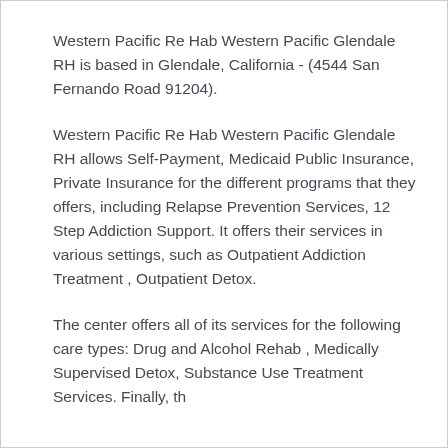Western Pacific Re Hab Western Pacific Glendale RH is based in Glendale, California - (4544 San Fernando Road 91204).
Western Pacific Re Hab Western Pacific Glendale RH allows Self-Payment, Medicaid Public Insurance, Private Insurance for the different programs that they offers, including Relapse Prevention Services, 12 Step Addiction Support. It offers their services in various settings, such as Outpatient Addiction Treatment , Outpatient Detox.
The center offers all of its services for the following care types: Drug and Alcohol Rehab , Medically Supervised Detox, Substance Use Treatment Services. Finally, the...